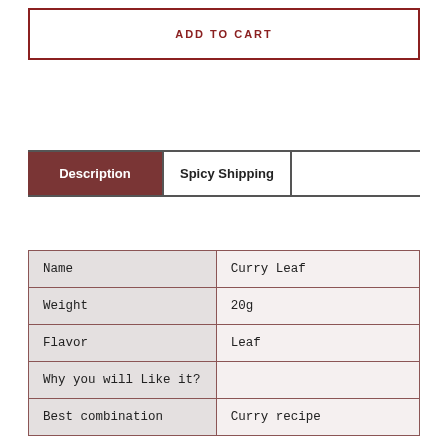ADD TO CART
| Description | Spicy Shipping |  |
| --- | --- | --- |
| Name | Curry Leaf |
| Weight | 20g |
| Flavor | Leaf |
| Why you will Like it? |  |
| Best combination | Curry recipe |